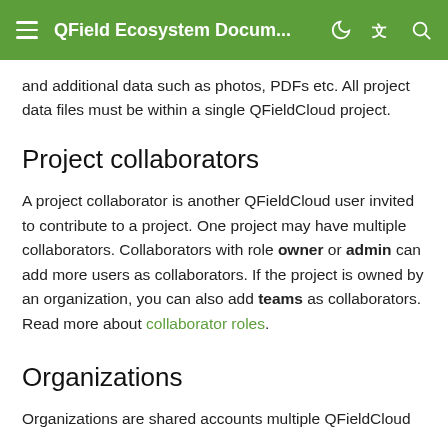QField Ecosystem Docum...
and additional data such as photos, PDFs etc. All project data files must be within a single QFieldCloud project.
Project collaborators
A project collaborator is another QFieldCloud user invited to contribute to a project. One project may have multiple collaborators. Collaborators with role owner or admin can add more users as collaborators. If the project is owned by an organization, you can also add teams as collaborators. Read more about collaborator roles.
Organizations
Organizations are shared accounts multiple QFieldCloud